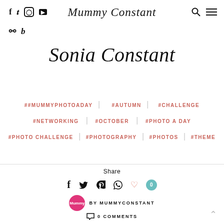Mummy Constant
Sonia Constant
##MUMMYPHOTOADAY  #AUTUMN  #CHALLENGE
#NETWORKING  #OCTOBER  #PHOTO A DAY
#PHOTO CHALLENGE  #PHOTOGRAPHY  #PHOTOS  #THEME
Share
BY MUMMYCONSTANT
0 COMMENTS